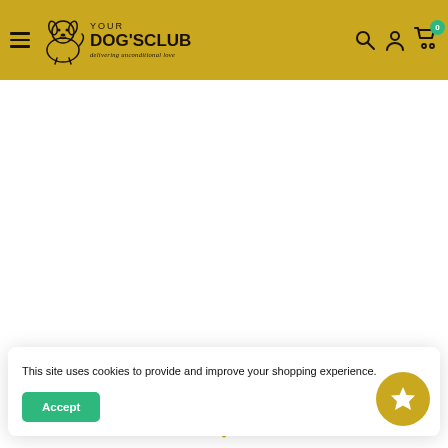[Figure (logo): Your Dog's Club logo with golden retriever puppy illustration and tagline 'delivering unconditional love' on golden/yellow header bar]
[Figure (screenshot): White main content area of ecommerce website, mostly blank]
This site uses cookies to provide and improve your shopping experience.
[Figure (other): Green Accept button and golden star/wishlist button in cookie consent banner]